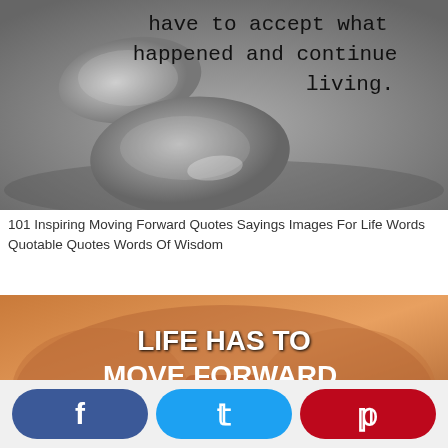[Figure (photo): Black and white photo of smooth pebble stones on a surface with motivational quote text in typewriter font: 'have to accept what happened and continue living.']
101 Inspiring Moving Forward Quotes Sayings Images For Life Words Quotable Quotes Words Of Wisdom
[Figure (photo): Colorful image of sunglasses with bold white text overlay reading 'LIFE HAS TO MOVE FORWARD. EVERYTHING' with social sharing buttons at the bottom (Facebook, Twitter, Pinterest).]